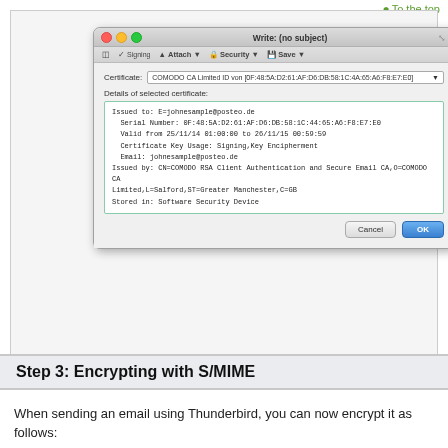[Figure (screenshot): macOS Thunderbird dialog showing certificate selection for S/MIME. Dialog titled 'Write: (no subject)' with a certificate dropdown showing 'COMODO CA Limited ID von [0F:48:5A:D2:61:AF:D6:DB:58:1C:4A:65:A6:F8:E7:E0]' and details of the selected certificate including issued to, serial number, validity dates, key usage, email, issuer, and stored in fields. Cancel and OK buttons at bottom.]
Step 3: Encrypting with S/MIME
When sending an email using Thunderbird, you can now encrypt it as follows: